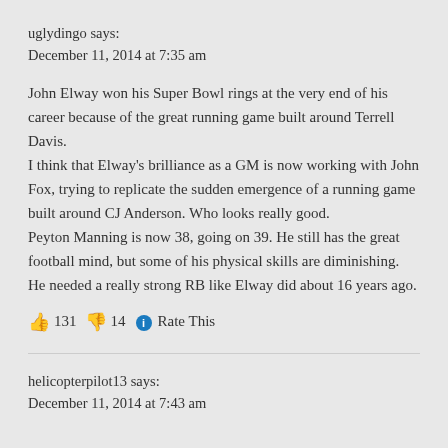uglydingo says:
December 11, 2014 at 7:35 am
John Elway won his Super Bowl rings at the very end of his career because of the great running game built around Terrell Davis.
I think that Elway's brilliance as a GM is now working with John Fox, trying to replicate the sudden emergence of a running game built around CJ Anderson. Who looks really good.
Peyton Manning is now 38, going on 39. He still has the great football mind, but some of his physical skills are diminishing. He needed a really strong RB like Elway did about 16 years ago.
👍 131 👎 14 ℹ Rate This
helicopterpilot13 says:
December 11, 2014 at 7:43 am